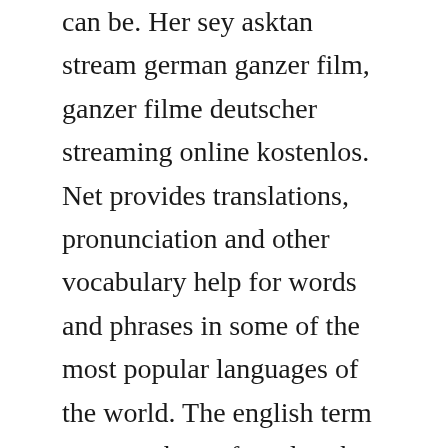can be. Her sey asktan stream german ganzer film, ganzer filme deutscher streaming online kostenlos. Net provides translations, pronunciation and other vocabulary help for words and phrases in some of the most popular languages of the world. The english term germans has referred to the germanspeaking population of the holy roman empire since the late middle ages.
You will also learn how to make a question in german. Even though its not something you usually have to do, because it requires a context in which you dont know what it is that